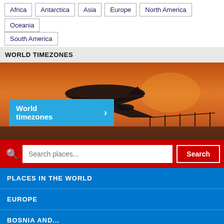Africa
Antarctica
Asia
Europe
North America
Oceania
South America
WORLD TIMEZONES
[Figure (photo): Airplane silhouetted against an orange/red sunset sky, seen from behind as it lands or takes off. A blue overlay button reads 'World timezones' with a right arrow.]
Search places...
PLACES IN THE WORLD
EUROPE
BOSNIA AND...